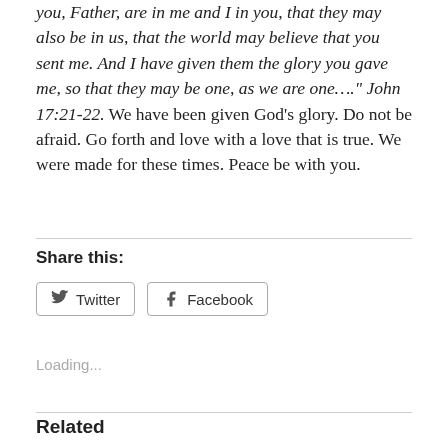you, Father, are in me and I in you, that they may also be in us, that the world may believe that you sent me.  And I have given them the glory you gave me, so that they may be one, as we are one…." John 17:21-22.  We have been given God's glory.  Do not be afraid.  Go forth and love with a love that is true.  We were made for these times.  Peace be with you.
Share this:
[Figure (other): Twitter and Facebook share buttons]
Loading...
Related